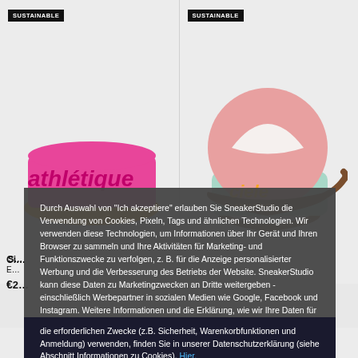[Figure (screenshot): E-commerce page showing two sports caps with 'SUSTAINABLE' badges. Left: pink/orange Athlétique cap. Right: pink/mint Ciele Athletics cap.]
Durch Auswahl von "Ich akzeptiere" erlauben Sie SneakerStudio die Verwendung von Cookies, Pixeln, Tags und ähnlichen Technologien. Wir verwenden diese Technologien, um Informationen über Ihr Gerät und Ihren Browser zu sammeln und Ihre Aktivitäten für Marketing- und Funktionszwecke zu verfolgen, z. B. für die Anzeige personalisierter Werbung und die Verbesserung des Betriebs der Website. SneakerStudio kann diese Daten zu Marketingzwecken an Dritte weitergeben - einschließlich Werbepartner in sozialen Medien wie Google, Facebook und Instagram. Weitere Informationen und die Erklärung, wie wir Ihre Daten für die erforderlichen Zwecke (z.B. Sicherheit, Warenkorbfunktionen und Anmeldung) verwenden, finden Sie in unserer Datenschutzerklärung (siehe Abschnitt Informationen zu Cookies). Hier.
Close